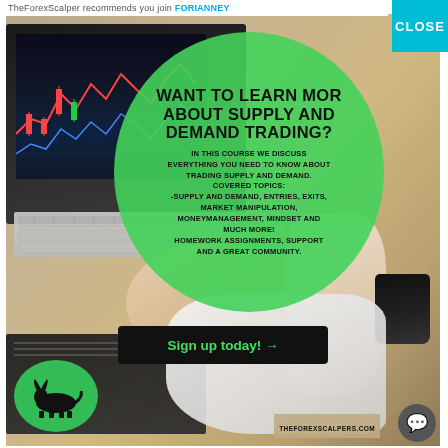TheForexScalper recommends you join FORIANNEY
[Figure (photo): Advertisement banner showing a person at a laptop with a trading chart, overlaid with a green circle containing course information text, a black 'Sign up today!' button, and THEFOREXSCALPERS.COM watermark. A teal CLOSE button is in the top right corner.]
WANT TO LEARN MORE ABOUT SUPPLY AND DEMAND TRADING?
IN THIS COURSE WE DISCUSS EVERYTHING YOU NEED TO KNOW ABOUT TRADING SUPPLY AND DEMAND. COVERED TOPICS: -SUPPLY AND DEMAND, ENTRIES, EXITS, MARKET MANIPULATION, MONEYMANAGEMENT, MINDSET AND MUCH MORE! HOMEWORK ASSIGNMENTS, SUPPORT AND A GREAT COMMUNITY.
Sign up today! →